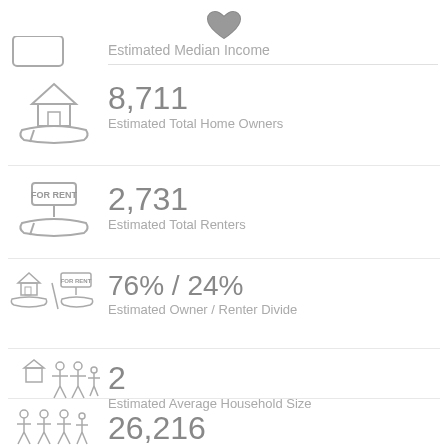[Figure (infographic): Heart icon at top center]
Estimated Median Income
8,711
Estimated Total Home Owners
2,731
Estimated Total Renters
76% / 24%
Estimated Owner / Renter Divide
2
Estimated Average Household Size
26,216